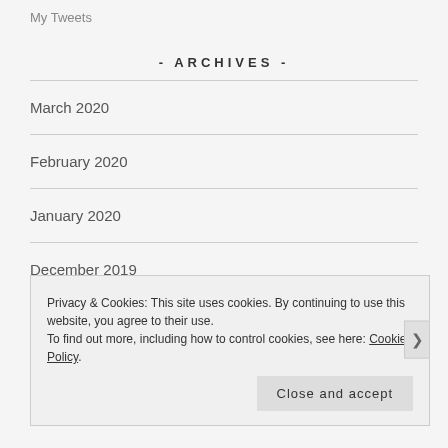My Tweets
- ARCHIVES -
March 2020
February 2020
January 2020
December 2019
November 2019
Privacy & Cookies: This site uses cookies. By continuing to use this website, you agree to their use.
To find out more, including how to control cookies, see here: Cookie Policy
Close and accept